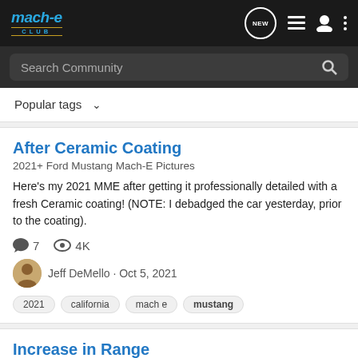mach-e CLUB — navigation bar with logo, NEW button, list icon, user icon, more icon
Search Community
Popular tags ∨
After Ceramic Coating
2021+ Ford Mustang Mach-E Pictures
Here's my 2021 MME after getting it professionally detailed with a fresh Ceramic coating! (NOTE: I debadged the car yesterday, prior to the coating).
7 comments · 4K views
Jeff DeMello · Oct 5, 2021
2021
california
mach e
mustang
Increase in Range